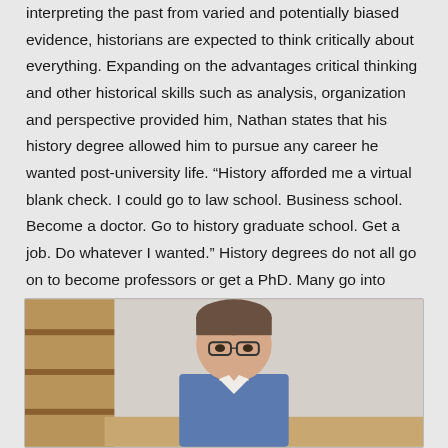interpreting the past from varied and potentially biased evidence, historians are expected to think critically about everything. Expanding on the advantages critical thinking and other historical skills such as analysis, organization and perspective provided him, Nathan states that his history degree allowed him to pursue any career he wanted post-university life. “History afforded me a virtual blank check. I could go to law school. Business school. Become a doctor. Go to history graduate school. Get a job. Do whatever I wanted.” History degrees do not all go on to become professors or get a PhD. Many go into business, become museum professionals, work for the government, go to law school, etc. Historians and their skills are universal across the world.
[Figure (photo): A man (likely a professor or historian) sitting at a desk or table, photographed from roughly chest-up. There are wooden shelves or furniture visible behind him.]